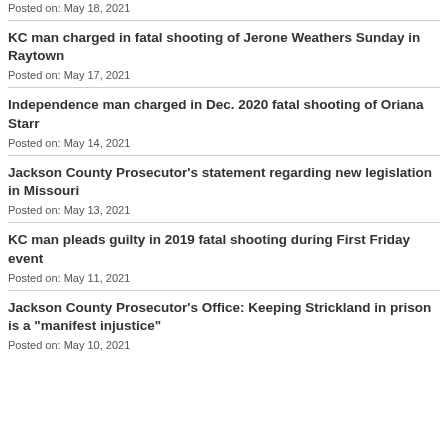Posted on: May 18, 2021
KC man charged in fatal shooting of Jerone Weathers Sunday in Raytown
Posted on: May 17, 2021
Independence man charged in Dec. 2020 fatal shooting of Oriana Starr
Posted on: May 14, 2021
Jackson County Prosecutor's statement regarding new legislation in Missouri
Posted on: May 13, 2021
KC man pleads guilty in 2019 fatal shooting during First Friday event
Posted on: May 11, 2021
Jackson County Prosecutor's Office: Keeping Strickland in prison is a "manifest injustice"
Posted on: May 10, 2021